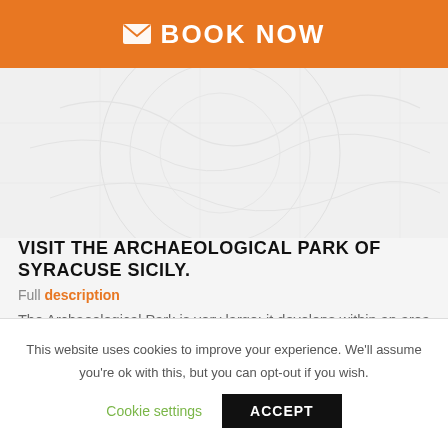✉ BOOK NOW
VISIT THE ARCHAEOLOGICAL PARK OF SYRACUSE SICILY.
Full description
The Archaeological Park is very large: it develops within an area that was occupied by an ancient limestone quarry, from which the Greeks extracted the material for the construction of the city walls and monuments.
This website uses cookies to improve your experience. We'll assume you're ok with this, but you can opt-out if you wish.
Cookie settings
ACCEPT